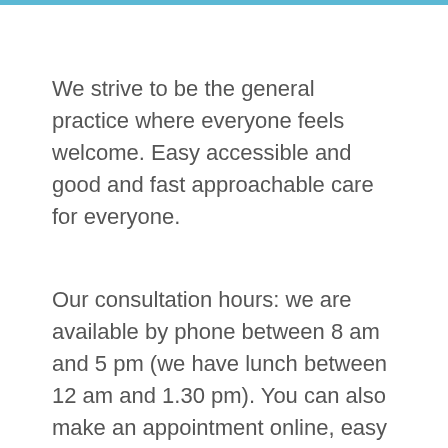We strive to be the general practice where everyone feels welcome. Easy accessible and good and fast approachable care for everyone.
Our consultation hours: we are available by phone between 8 am and 5 pm (we have lunch between 12 am and 1.30 pm). You can also make an appointment online, easy and quick. In that way you unburden our assistants.